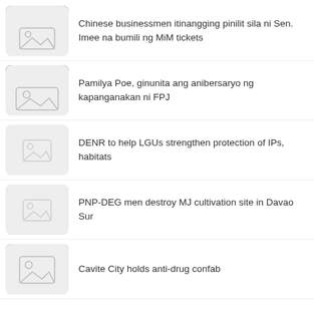Chinese businessmen itinangging pinilit sila ni Sen. Imee na bumili ng MiM tickets
Pamilya Poe, ginunita ang anibersaryo ng kapanganakan ni FPJ
DENR to help LGUs strengthen protection of IPs, habitats
PNP-DEG men destroy MJ cultivation site in Davao Sur
Cavite City holds anti-drug confab